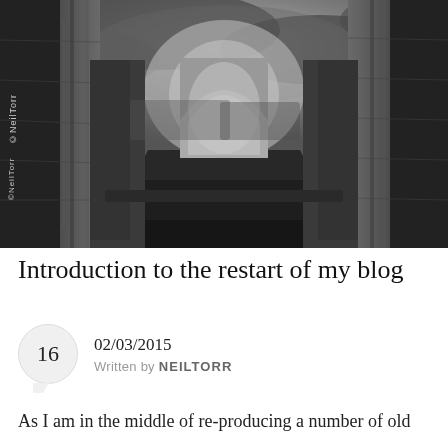[Figure (photo): Black and white photograph of a ruined Gothic abbey or cathedral interior, showing stone columns and arches framing a long nave leading to a pointed arch window at the far end, with grass on the floor and a dramatic sky. Watermark reads ©NeilTorr in the lower left.]
Introduction to the restart of my blog
02/03/2015
Written by NEILTORR
As I am in the middle of re-producing a number of old